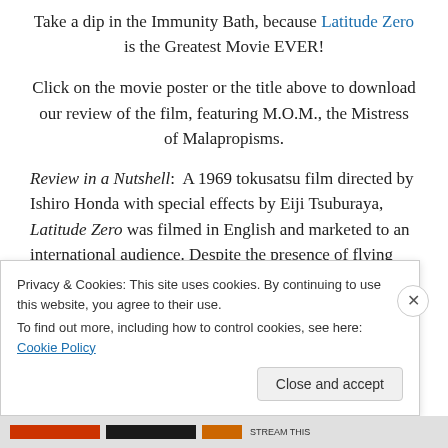Take a dip in the Immunity Bath, because Latitude Zero is the Greatest Movie EVER!
Click on the movie poster or the title above to download our review of the film, featuring M.O.M., the Mistress of Malapropisms.
Review in a Nutshell: A 1969 tokusatsu film directed by Ishiro Honda with special effects by Eiji Tsuburaya, Latitude Zero was filmed in English and marketed to an international audience. Despite the presence of flying submarines, super advanced undersea civilizations, laser
Privacy & Cookies: This site uses cookies. By continuing to use this website, you agree to their use.
To find out more, including how to control cookies, see here: Cookie Policy
Close and accept